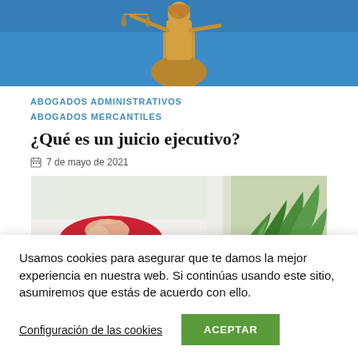[Figure (photo): Gold Lady Justice statue holding scales against a blue background, cropped showing upper body]
ABOGADOS ADMINISTRATIVOS
ABOGADOS MERCANTILES
¿Qué es un juicio ejecutivo?
7 de mayo de 2021
[Figure (photo): Person's hand on a red mouse pad with a computer mouse, green plant in background, office setting]
Usamos cookies para asegurar que te damos la mejor experiencia en nuestra web. Si continúas usando este sitio, asumiremos que estás de acuerdo con ello.
Configuración de las cookies
ACEPTAR